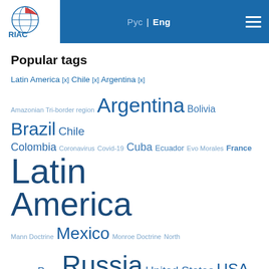RIAC | Рус | Eng
Popular tags
Latin America [x] Chile [x] Argentina [x]
Amazonian Tri-border region  Argentina  Bolivia  Brazil  Chile  Colombia  Coronavirus  Covid-19  Cuba  Ecuador  Evo Morales  France  Latin America  Mann Doctrine  Mexico  Monroe Doctrine  North America  Peru  Russia  United States  USA  Venezuela
All tags
Poll conducted